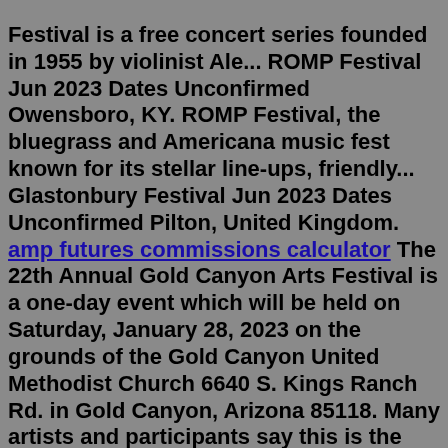Festival is a free concert series founded in 1955 by violinist Ale... ROMP Festival Jun 2023 Dates Unconfirmed Owensboro, KY. ROMP Festival, the bluegrass and Americana music fest known for its stellar line-ups, friendly... Glastonbury Festival Jun 2023 Dates Unconfirmed Pilton, United Kingdom. amp futures commissions calculator The 22th Annual Gold Canyon Arts Festival is a one-day event which will be held on Saturday, January 28, 2023 on the grounds of the Gold Canyon United Methodist Church 6640 S. Kings Ranch Rd. in Gold Canyon, Arizona 85118. Many artists and participants say this is the 'best one day' show they've experienced. But the festival will be back on the West bank of the Flats for its 14 th iteration on February 23, 2023. However, if you'd like to be part of it, playing on one of its multiple stages, now is the time to start applying. It's looking for all genres of music and promise to listen to everything submitted. And while it does book some out-of ...Fort Worth Arts Festival. The 36th edition of the MAIN ST. Fort Worth Arts Festival will take